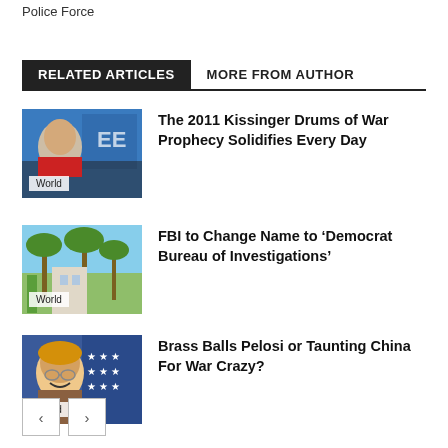Police Force
RELATED ARTICLES   MORE FROM AUTHOR
[Figure (photo): Photo of Henry Kissinger at a podium with blue background and partial text EE visible]
The 2011 Kissinger Drums of War Prophecy Solidifies Every Day
[Figure (photo): Photo of a building with palm trees and blue sky]
FBI to Change Name to ‘Democrat Bureau of Investigations’
[Figure (photo): Photo of Nancy Pelosi smiling in front of US flag]
Brass Balls Pelosi or Taunting China For War Crazy?